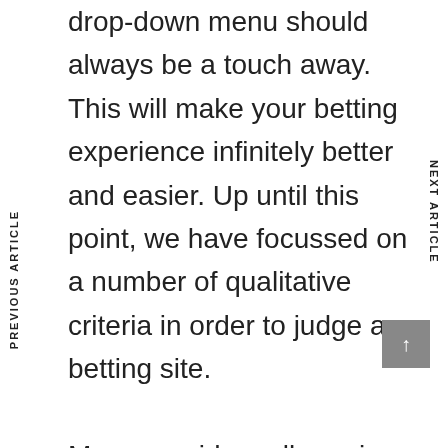drop-down menu should always be a touch away. This will make your betting experience infinitely better and easier. Up until this point, we have focussed on a number of qualitative criteria in order to judge a betting site.
PREVIOUS ARTICLE
NEXT ARTICLE
Many providers allow wire transfers, cryptocurrencies, and services like PayPal and Skrill. Punters always welcome having a long list of choices, especially those who are not comfortable with leaving their credit card information with new UK